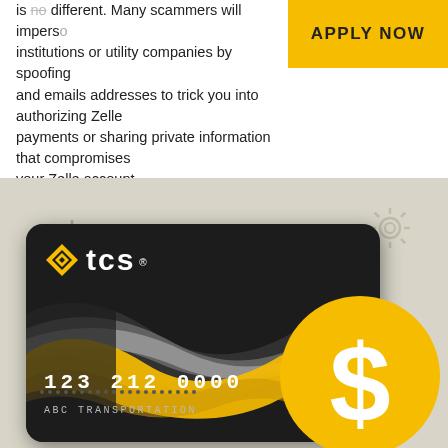is no different. Many scammers will impersonate financial institutions or utility companies by spoofing and emails addresses to trick you into authorizing Zelle payments or sharing private information that compromises your Zelle account.
APPLY NOW
[Figure (illustration): TCS credit card with number 123 212 0000, name ABC TRANSPORTATION, shown on a beige background with decorative gear icons and a large yellow dollar sign circle overlay]